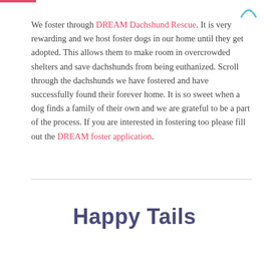We foster through DREAM Dachshund Rescue. It is very rewarding and we host foster dogs in our home until they get adopted. This allows them to make room in overcrowded shelters and save dachshunds from being euthanized. Scroll through the dachshunds we have fostered and have successfully found their forever home. It is so sweet when a dog finds a family of their own and we are grateful to be a part of the process. If you are interested in fostering too please fill out the DREAM foster application.
Happy Tails